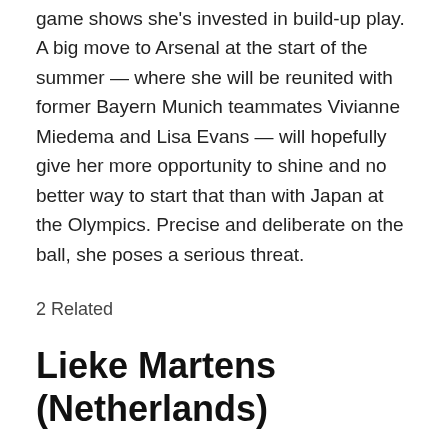game shows she's invested in build-up play. A big move to Arsenal at the start of the summer — where she will be reunited with former Bayern Munich teammates Vivianne Miedema and Lisa Evans — will hopefully give her more opportunity to shine and no better way to start that than with Japan at the Olympics. Precise and deliberate on the ball, she poses a serious threat.
2 Related
Lieke Martens (Netherlands)
Vivianne Miedema is often put forward as the star of Netherlands' squad and while her goal-scoring record speaks for itself, there is plenty of other talent in the European champions squad. One such name that sticks out is Martens, who won the Primera Iberdrola and Champions League this season with Barcelona. The Catalan club's